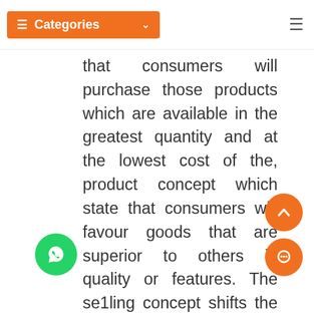Categories
that consumers will purchase those products which are available in the greatest quantity and at the lowest cost of the, product concept which state that consumers will favour goods that are superior to others in quality or features. The se1ling concept shifts the emphasis from the product to aggressive selling and promotions closing the sales is goal of this orientation, while societal marketing emphasizes the need for organizations to offer quantity products maintain or improve the consumers and society's wellbeing.